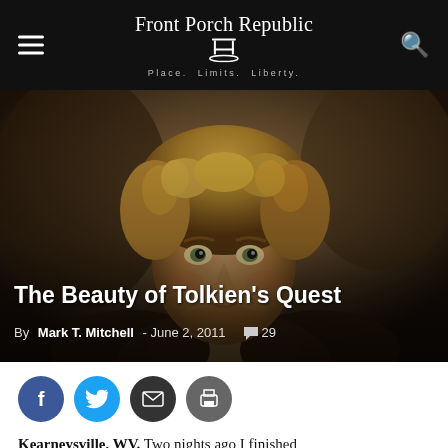Front Porch Republic — Place. Limits. Liberty.
[Figure (photo): Close-up portrait of a young man with curly blonde-brown hair, looking upward with an earnest expression, wearing a dark hooded garment. Still from a fantasy film.]
The Beauty of Tolkien's Quest
By Mark T. Mitchell - June 2, 2011  💬 29
[Figure (infographic): Social sharing buttons: Facebook (blue circle with f), Twitter (cyan circle with bird), Email (dark circle with envelope), Print (gray circle with printer)]
Kearneysville, WV. Two nights ago I finished